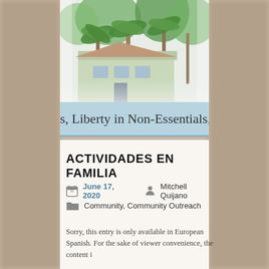[Figure (photo): Photograph of a building with palm trees, partially cropped, shown at top of page]
s, Liberty in Non-Essentials, Char
ACTIVIDADES EN FAMILIA
June 17, 2020   Mitchell Quijano
Community, Community Outreach
Sorry, this entry is only available in European Spanish. For the sake of viewer convenience, the content i